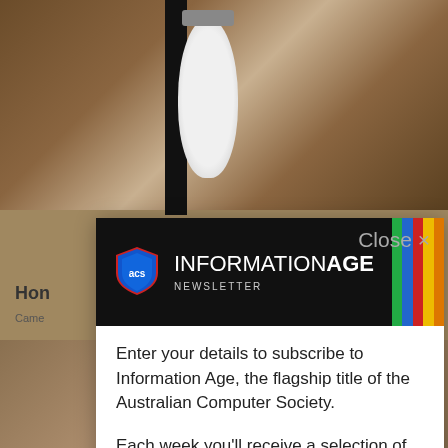[Figure (screenshot): Background photo of a lamp/light fixture against a stone wall, partially obscured by a modal dialog. Visible text fragments include 'Hon', 'Came', 'his', and a 'More' button.]
[Figure (logo): Information Age Newsletter banner with ACS logo on black background and colored vertical stripes (green, blue, red, yellow, orange) on the right.]
Enter your details to subscribe to Information Age, the flagship title of the Australian Computer Society.
Each week you'll receive a selection of the latest articles so you can stay up to date with the latest news, analysis and opinion.
Email address: